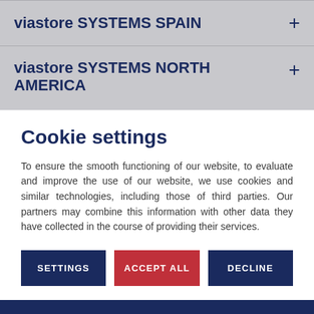viastore SYSTEMS SPAIN
viastore SYSTEMS NORTH AMERICA
Cookie settings
To ensure the smooth functioning of our website, to evaluate and improve the use of our website, we use cookies and similar technologies, including those of third parties. Our partners may combine this information with other data they have collected in the course of providing their services.
SETTINGS | ACCEPT ALL | DECLINE
Imprint | Privacy Policy